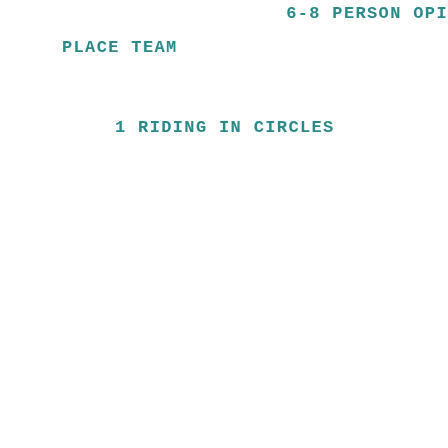6-8 PERSON OPI
PLACE TEAM
1 RIDING IN CIRCLES